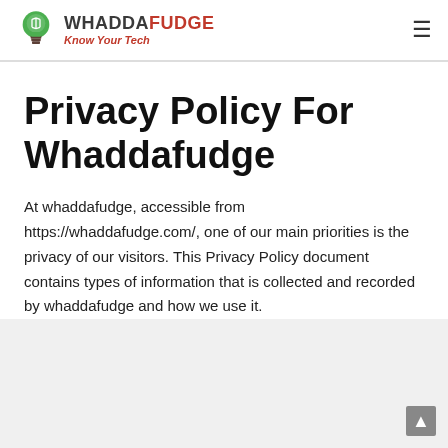Whaddafudge — Know Your Tech
Privacy Policy For Whaddafudge
At whaddafudge, accessible from https://whaddafudge.com/, one of our main priorities is the privacy of our visitors. This Privacy Policy document contains types of information that is collected and recorded by whaddafudge and how we use it.